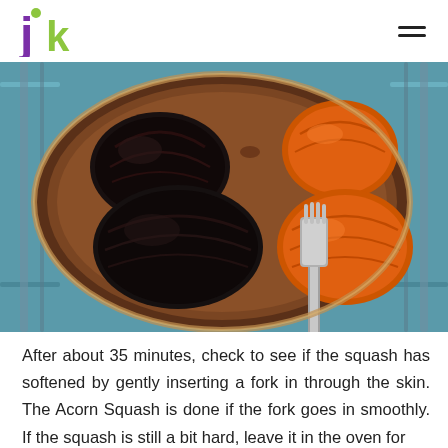jk [logo]
[Figure (photo): Overhead view of roasted acorn squash halves in a round baking pan on an oven rack. Two halves are dark/caramelized black-purple and one is bright orange. A fork is being inserted into the orange squash half to test doneness.]
After about 35 minutes, check to see if the squash has softened by gently inserting a fork in through the skin. The Acorn Squash is done if the fork goes in smoothly. If the squash is still a bit hard, leave it in the oven for